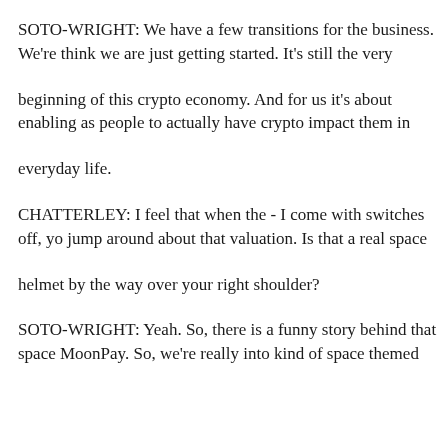SOTO-WRIGHT: We have a few transitions for the business. We're think we are just getting started. It's still the very
beginning of this crypto economy. And for us it's about enabling as people to actually have crypto impact them in
everyday life.
CHATTERLEY: I feel that when the - I come with switches off, yo jump around about that valuation. Is that a real space
helmet by the way over your right shoulder?
SOTO-WRIGHT: Yeah. So, there is a funny story behind that space MoonPay. So, we're really into kind of space themed